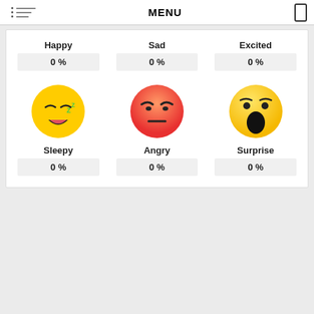MENU
[Figure (infographic): Emotion recognition UI showing 6 emotions in a 3x2 grid: Happy, Sad, Excited (top row) and Sleepy, Angry, Surprise (bottom row), each with an emoji and a percentage value showing 0%]